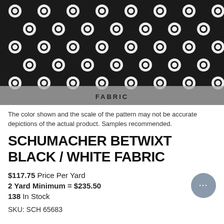[Figure (photo): Close-up photo of black and white geometric fabric with a repeating star/flower pattern. A semi-transparent gray bar overlays the bottom of the image with the word FABRIC centered on it.]
The color shown and the scale of the pattern may not be accurate depictions of the actual product. Samples recommended.
SCHUMACHER BETWIXT BLACK / WHITE FABRIC
$117.75 Price Per Yard
2 Yard Minimum = $235.50
138 In Stock
SKU: SCH 65683